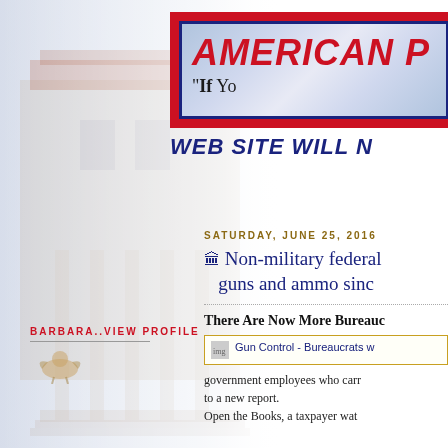[Figure (illustration): Faded background illustration of a historic brick building with columns, rendered in light blue-grey tones]
AMERICAN [...]
"If Yo[...]"
WEB SITE WILL N[...]
SATURDAY, JUNE 25, 2016
Non-military federal [...] guns and ammo sinc[...]
There Are Now More Bureauc[...]
[Figure (screenshot): Gun Control - Bureaucrats w[...] thumbnail image]
government employees who carr[...] to a new report.
Open the Books, a taxpayer wat[...]
BARBARA..VIEW PROFILE